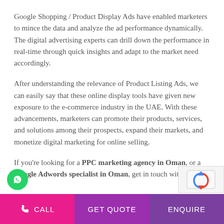Google Shopping / Product Display Ads have enabled marketers to mince the data and analyze the ad performance dynamically. The digital advertising experts can drill down the performance in real-time through quick insights and adapt to the market need accordingly.
After understanding the relevance of Product Listing Ads, we can easily say that these online display tools have given new exposure to the e-commerce industry in the UAE. With these advancements, marketers can promote their products, services, and solutions among their prospects, expand their markets, and monetize digital marketing for online selling.
If you're looking for a PPC marketing agency in Oman, or a Google Adwords specialist in Oman, get in touch with
CALL   GET QUOTE   ENQUIRE